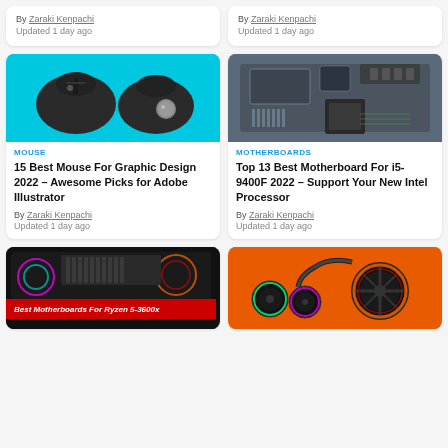By Zaraki Kenpachi
Updated 1 day ago
By Zaraki Kenpachi
Updated 1 day ago
[Figure (photo): Two black mice on cyan background — a standard mouse and a trackball mouse]
MOUSE
15 Best Mouse For Graphic Design 2022 – Awesome Picks for Adobe Illustrator
By Zaraki Kenpachi
Updated 1 day ago
[Figure (photo): Close-up photograph of a computer motherboard with heatsinks and components]
MOTHERBOARDS
Top 13 Best Motherboard For i5-9400F 2022 – Support Your New Intel Processor
By Zaraki Kenpachi
Updated 1 day ago
[Figure (photo): Motherboard with RGB lighting on dark background, red banner: Best Motherboards For Ryzen 5-3600x]
[Figure (photo): RGB cooling fans on orange background]